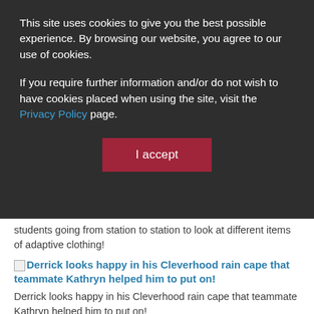This site uses cookies to give you the best possible experience. By browsing our website, you agree to our use of cookies.
If you require further information and/or do not wish to have cookies placed when using the site, visit the Privacy Policy page.
[Figure (other): I accept button - cookie consent button in dark red/crimson color]
students going from station to station to look at different items of adaptive clothing!
[Figure (photo): Broken image placeholder for: Derrick looks happy in his Cleverhood rain cape that teammate Kathryn helped him to put on!]
Derrick looks happy in his Cleverhood rain cape that teammate Kathryn helped him to put on!
[Figure (photo): Broken image placeholder for: Yuchen and Chris look at the MagnaMini jacket with magnetic buttons — the jacket looks really...]